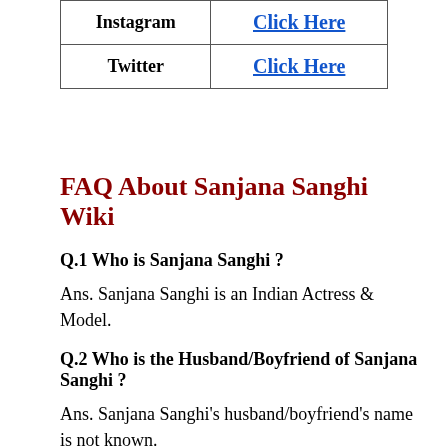|  |  |
| --- | --- |
| Instagram | Click Here |
| Twitter | Click Here |
FAQ About Sanjana Sanghi Wiki
Q.1 Who is Sanjana Sanghi ?
Ans. Sanjana Sanghi is an Indian Actress & Model.
Q.2 Who is the Husband/Boyfriend of Sanjana Sanghi ?
Ans. Sanjana Sanghi's husband/boyfriend's name is not known.